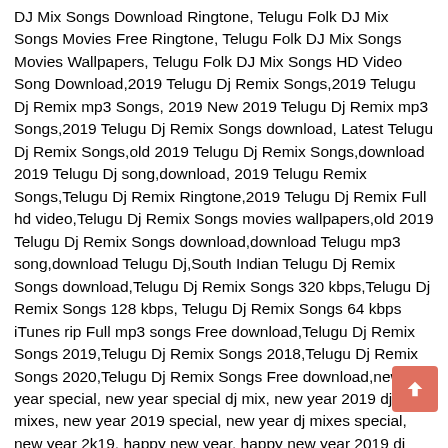DJ Mix Songs Download Ringtone, Telugu Folk DJ Mix Songs Movies Free Ringtone, Telugu Folk DJ Mix Songs Movies Wallpapers, Telugu Folk DJ Mix Songs HD Video Song Download,2019 Telugu Dj Remix Songs,2019 Telugu Dj Remix mp3 Songs, 2019 New 2019 Telugu Dj Remix mp3 Songs,2019 Telugu Dj Remix Songs download, Latest Telugu Dj Remix Songs,old 2019 Telugu Dj Remix Songs,download 2019 Telugu Dj song,download, 2019 Telugu Remix Songs,Telugu Dj Remix Ringtone,2019 Telugu Dj Remix Full hd video,Telugu Dj Remix Songs movies wallpapers,old 2019 Telugu Dj Remix Songs download,download Telugu mp3 song,download Telugu Dj,South Indian Telugu Dj Remix Songs download,Telugu Dj Remix Songs 320 kbps,Telugu Dj Remix Songs 128 kbps, Telugu Dj Remix Songs 64 kbps iTunes rip Full mp3 songs Free download,Telugu Dj Remix Songs 2019,Telugu Dj Remix Songs 2018,Telugu Dj Remix Songs 2020,Telugu Dj Remix Songs Free download,new year special, new year special dj mix, new year 2019 dj mixes, new year 2019 special, new year dj mixes special, new year 2k19, happy new year, happy new year 2019 dj mixes, 2K19 special dj mixes, new year special mixes dj 2019, 2019 BONALU SPECIAL MIXES, 2K19 BONALU ON STOP MIXES